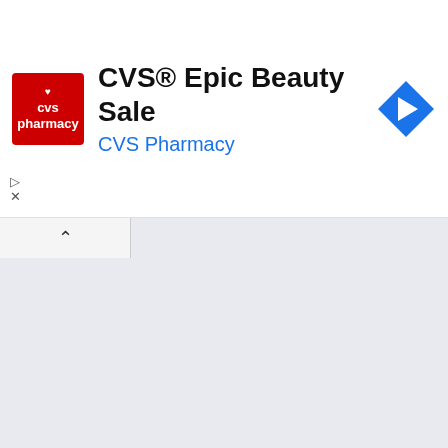[Figure (screenshot): CVS Pharmacy advertisement banner: CVS logo (red square with white heart and text), heading 'CVS® Epic Beauty Sale', subheading 'CVS Pharmacy' in blue, and a blue diamond navigation arrow icon on the right.]
PA... TRANSF... (IGLES... AGOSTO... 330 DEL... (AÑO... SE...
PA
TRANSF
(IGLES
AGOSTO
330 DEL
(AÑO
SE